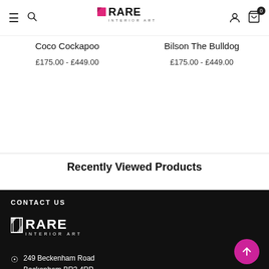Rare Interior Art — navigation header with hamburger, search, logo, account, cart (0)
Coco Cockapoo
£175.00 - £449.00
Bilson The Bulldog
£175.00 - £449.00
Recently Viewed Products
CONTACT US
[Figure (logo): Rare Interior Art white logo on dark background]
249 Beckenham Road Beckenham BR3 4RP
245 Kings Road Arches Brighton BN1 1NB